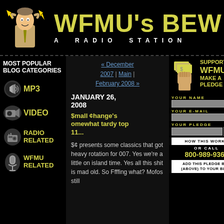[Figure (illustration): Cartoon mascot man grabbing his head with lightning bolts]
WFMU's BEW
A RADIO STATION
MOST POPULAR BLOG CATEGORIES
[Figure (illustration): Speaker icon for MP3 category]
MP3
[Figure (illustration): Camera icon for VIDEO category]
VIDEO
[Figure (illustration): Radio icon for RADIO RELATED category]
RADIO RELATED
[Figure (illustration): Microphone icon for WFMU RELATED category]
WFMU RELATED
« December 2007 | Main | February 2008 »
JANUARY 26, 2008
$mall ¢hange's omewhat tardy top 11...
$¢ presents some classics that got heavy rotation for 007.  Yes we're a little on island time.  Yes all this shit is mad old.  So Ffffing what?  Mofos still
[Figure (illustration): Hand holding money bills illustration]
SUPPORT WFMU MAKE A PLEDGE
YOUR NAME
YOUR E-MAIL
YOUR PLEDGE
HOW THIS WORKS
OR CALL 800-989-9368
ADD THIS PLEDGE BOX (ABOVE) TO YOUR BLOG